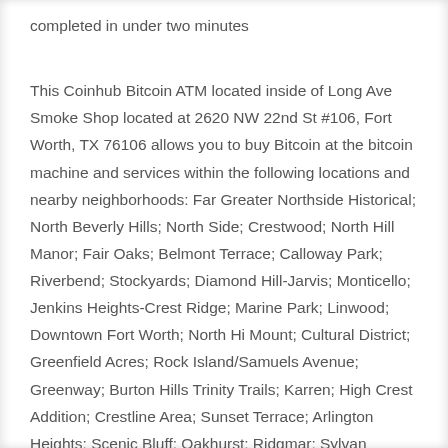completed in under two minutes
This Coinhub Bitcoin ATM located inside of Long Ave Smoke Shop located at 2620 NW 22nd St #106, Fort Worth, TX 76106 allows you to buy Bitcoin at the bitcoin machine and services within the following locations and nearby neighborhoods: Far Greater Northside Historical; North Beverly Hills; North Side; Crestwood; North Hill Manor; Fair Oaks; Belmont Terrace; Calloway Park; Riverbend; Stockyards; Diamond Hill-Jarvis; Monticello; Jenkins Heights-Crest Ridge; Marine Park; Linwood; Downtown Fort Worth; North Hi Mount; Cultural District; Greenfield Acres; Rock Island/Samuels Avenue; Greenway; Burton Hills Trinity Trails; Karren; High Crest Addition; Crestline Area; Sunset Terrace; Arlington Heights; Scenic Bluff; Oakhurst; Ridgmar; Sylvan Heights West; Bonnie Brae; South Lake Worth; United Riverside; Como; West Beyer;